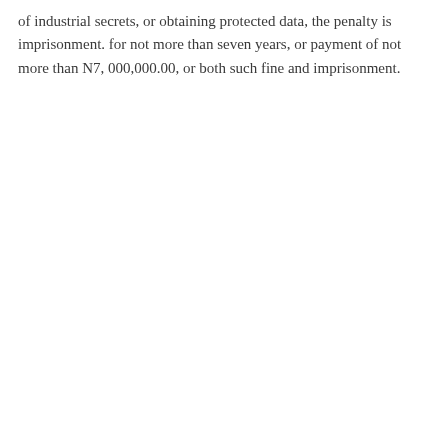of industrial secrets, or obtaining protected data, the penalty is imprisonment. for not more than seven years, or payment of not more than N7, 000,000.00, or both such fine and imprisonment.